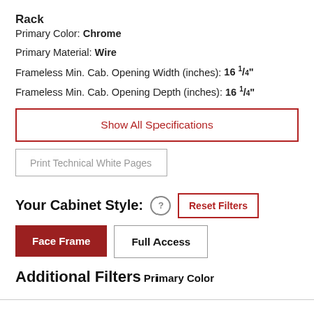Rack
Primary Color: Chrome
Primary Material: Wire
Frameless Min. Cab. Opening Width (inches): 16 1/4"
Frameless Min. Cab. Opening Depth (inches): 16 1/4"
Show All Specifications
Print Technical White Pages
Your Cabinet Style:
Reset Filters
Face Frame
Full Access
Additional Filters
Primary Color